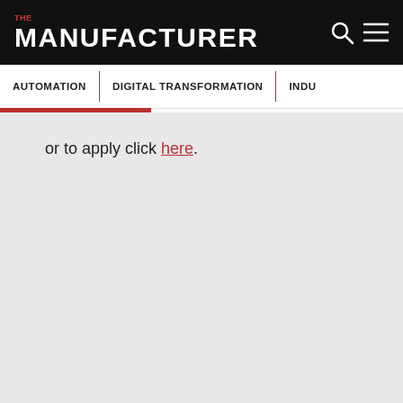THE MANUFACTURER
AUTOMATION | DIGITAL TRANSFORMATION | INDU...
or to apply click here.